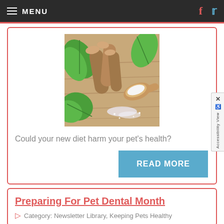MENU
[Figure (photo): Photo of wooden sticks, green leaves, a wooden scoop with white powder/salt, on a wooden surface — herbal/natural ingredients.]
Could your new diet harm your pet's health?
READ MORE
Preparing For Pet Dental Month
Category: Newsletter Library, Keeping Pets Healthy